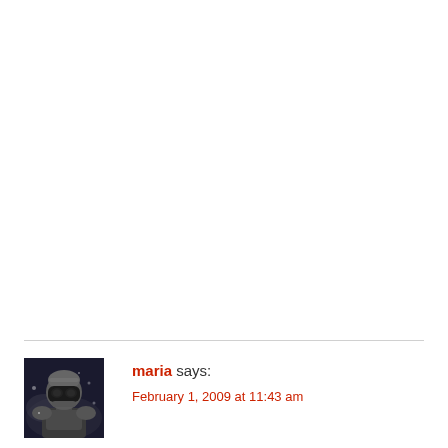[Figure (photo): Avatar image of a soldier in armor/helmet, dark tones]
maria says:
February 1, 2009 at 11:43 am